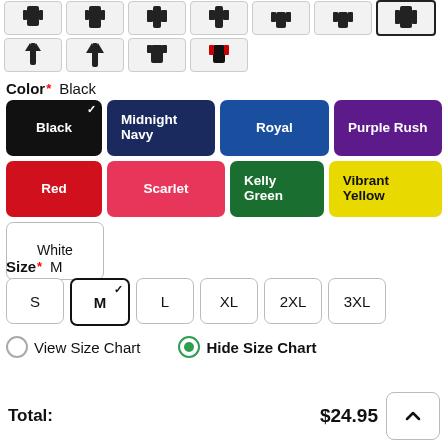[Figure (screenshot): Product thumbnail strip - row 1: 7 clothing item thumbnails in small bordered boxes, last one selected/highlighted]
[Figure (screenshot): Product thumbnail strip - row 2: 4 clothing item thumbnails (tank tops, t-shirts, raglan)]
Color* Black
[Figure (infographic): Color selection buttons: Black (selected with checkmark), Midnight Navy, Royal, Purple Rush, Red, Scarlet, Kelly Green, Vibrant Yellow, White]
Size* M
[Figure (infographic): Size selection buttons: S, M (selected with checkmark), L, XL, 2XL, 3XL]
View Size Chart   Hide Size Chart
Total: $24.95